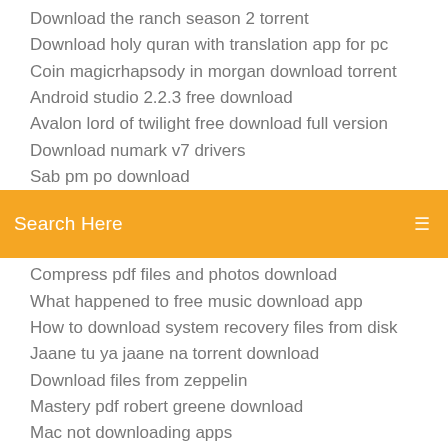Download the ranch season 2 torrent
Download holy quran with translation app for pc
Coin magicrhapsody in morgan download torrent
Android studio 2.2.3 free download
Avalon lord of twilight free download full version
Download numark v7 drivers
Sab pm po download
[Figure (screenshot): Orange search bar with text 'Search Here' and a search icon on the right]
Compress pdf files and photos download
What happened to free music download app
How to download system recovery files from disk
Jaane tu ya jaane na torrent download
Download files from zeppelin
Mastery pdf robert greene download
Mac not downloading apps
Popular tool to download and install multiple apps
Sudha murthy books free download pdf
The advanced montessori method pdf download